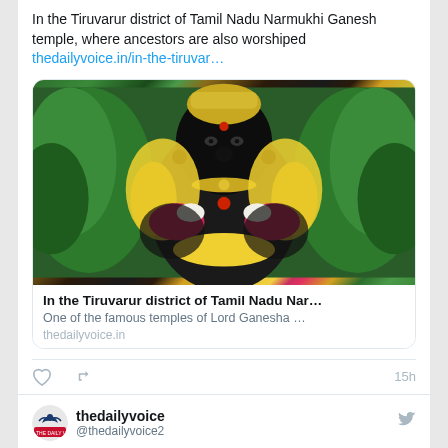In the Tiruvarur district of Tamil Nadu Narmukhi Ganesh temple, where ancestors are also worshiped thedailyvoice.in/in-the-tiruvar…
[Figure (photo): Photo of a Hindu deity idol decorated with colorful flower garlands (yellow, red, pink) at a temple. The dark stone idol has a decorative crown and ornaments.]
In the Tiruvarur district of Tamil Nadu Nar… One of the famous temples of Lord Ganesha … thedailyvoice.in
15h
thedailyvoice @thedailyvoice2
Energy transition vehicles in the country can run on wind power thedailyvoice.in/energy-transit…